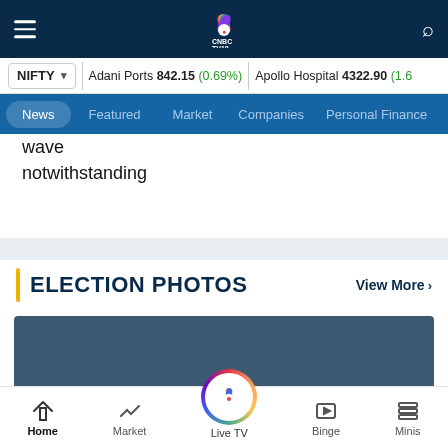CNBC TV18 — hamburger menu, logo, search icon
NIFTY | Adani Ports 842.15 (0.69%) | Apollo Hospital 4322.90 (1.6%)
News | Featured | Market | Companies | Personal Finance
wave notwithstanding
ELECTION PHOTOS
View More >
[Figure (photo): Election photo placeholder with CNBC TV18 Live TV logo overlay]
Home | Market | Live TV | Binge | Minis